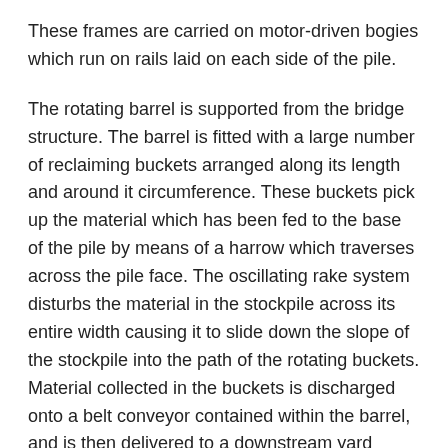These frames are carried on motor-driven bogies which run on rails laid on each side of the pile.
The rotating barrel is supported from the bridge structure. The barrel is fitted with a large number of reclaiming buckets arranged along its length and around it circumference. These buckets pick up the material which has been fed to the base of the pile by means of a harrow which traverses across the pile face. The oscillating rake system disturbs the material in the stockpile across its entire width causing it to slide down the slope of the stockpile into the path of the rotating buckets. Material collected in the buckets is discharged onto a belt conveyor contained within the barrel, and is then delivered to a downstream yard conveyor running alongside the stockpile.
For bi-directional operation, the barrel drive is made